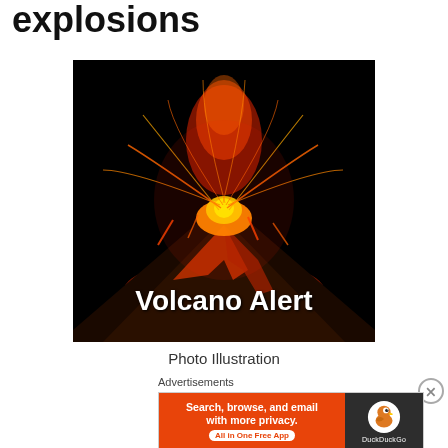explosions
[Figure (photo): Erupting volcano at night with glowing lava and sparks against black sky, overlaid with white text 'Volcano Alert']
Photo Illustration
Advertisements
[Figure (infographic): DuckDuckGo advertisement banner: orange left panel with text 'Search, browse, and email with more privacy. All in One Free App' and dark right panel with DuckDuckGo duck logo and brand name]